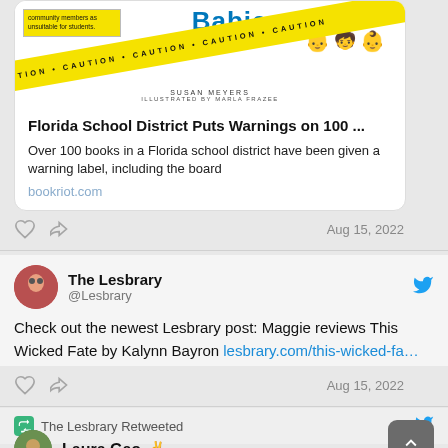[Figure (screenshot): Screenshot of a social media feed showing tweets and article card about Florida school district book warnings and Lesbrary book review]
Florida School District Puts Warnings on 100 ...
Over 100 books in a Florida school district have been given a warning label, including the board
bookriot.com
Aug 15, 2022
The Lesbrary @Lesbrary
Check out the newest Lesbrary post: Maggie reviews This Wicked Fate by Kalynn Bayron lesbrary.com/this-wicked-fa…
Aug 15, 2022
The Lesbrary Retweeted
Laura Gao ✌️